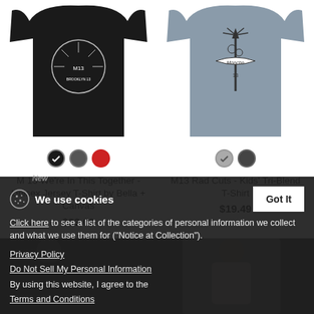[Figure (photo): Black t-shirt with white graphic design (M13 We're In This Together) shown on model, with color swatches below: black (selected), dark gray, red]
M 13 We're In This Together - Unisex Jersey T-Shirt by Bella + Canvas
$23.00
[Figure (photo): Gray kids tri-blend t-shirt with dagger/rose graphic (M13 Rad Cuts) shown on model, with color swatches below: light gray (selected), charcoal]
M13 Rad Cuts - Kids' Tri-Blend T-Shirt
$19.49
New
We use cookies
Click here to see a list of the categories of personal information we collect and what we use them for ("Notice at Collection").
Privacy Policy
Do Not Sell My Personal Information
By using this website, I agree to the Terms and Conditions
Got It